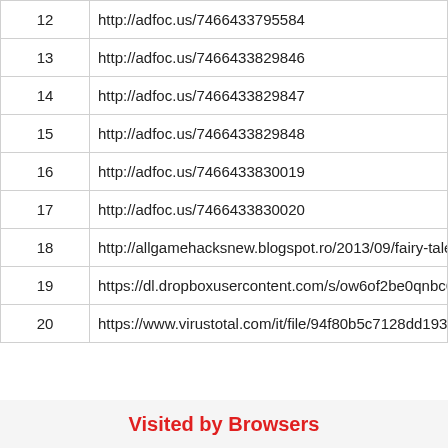| # | URL |
| --- | --- |
| 12 | http://adfoc.us/7466433795584 |
| 13 | http://adfoc.us/7466433829846 |
| 14 | http://adfoc.us/7466433829847 |
| 15 | http://adfoc.us/7466433829848 |
| 16 | http://adfoc.us/7466433830019 |
| 17 | http://adfoc.us/7466433830020 |
| 18 | http://allgamehacksnew.blogspot.ro/2013/09/fairy-tale-tv |
| 19 | https://dl.dropboxusercontent.com/s/ow6of2be0qnbc64/ |
| 20 | https://www.virustotal.com/it/file/94f80b5c7128dd19349 |
Visited by Browsers